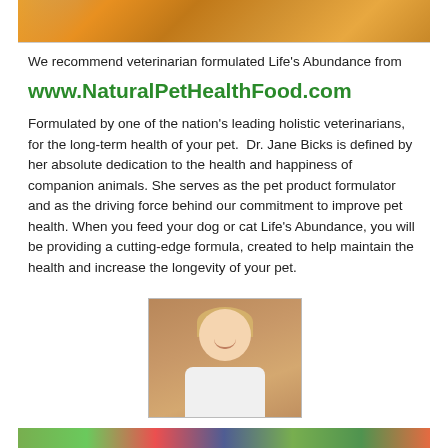[Figure (photo): Cropped top portion of pet food product packaging, showing colorful food items in orange and yellow tones]
We recommend veterinarian formulated Life's Abundance from
www.NaturalPetHealthFood.com
Formulated by one of the nation's leading holistic veterinarians, for the long-term health of your pet.  Dr. Jane Bicks is defined by her absolute dedication to the health and happiness of companion animals. She serves as the pet product formulator and as the driving force behind our commitment to improve pet health. When you feed your dog or cat Life's Abundance, you will be providing a cutting-edge formula, created to help maintain the health and increase the longevity of your pet.
[Figure (photo): Portrait photo of Dr. Jane Bicks, a smiling woman in a white lab coat, with short blonde hair, seated against a warm brown background]
[Figure (photo): Partial bottom strip showing colorful pet food product packaging in green, red, and blue tones]